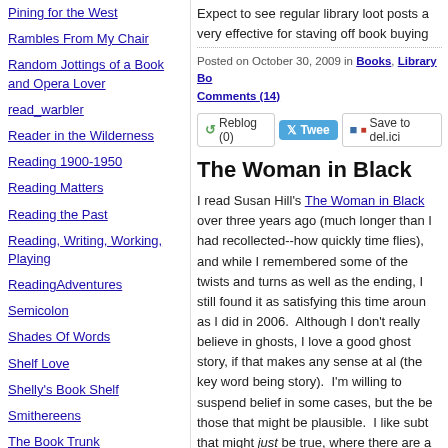Pining for the West
Rambles From My Chair
Random Jottings of a Book and Opera Lover
read_warbler
Reader in the Wilderness
Reading 1900-1950
Reading Matters
Reading the Past
Reading, Writing, Working, Playing
ReadingAdventures
Semicolon
Shades Of Words
Shelf Love
Shelly's Book Shelf
Smithereens
The Book Trunk
Weeds (formerly known as So Many Books)
Expect to see regular library loot posts a... very effective for staving off book buying...
Posted on October 30, 2009 in Books, Library Bo... Comments (14)
The Woman in Black
I read Susan Hill's The Woman in Black over three years ago (much longer than I had recollected--how quickly time flies), and while I remembered some of the twists and turns as well as the ending, I still found it as satisfying this time around as I did in 2006.  Although I don't really believe in ghosts, I love a good ghost story, if that makes any sense at all (the key word being story).  I'm willing to suspend belief in some cases, but the be... those that might be plausible.  I like subt... that might just be true, where there are a... the rest is left to the mind to work on and...